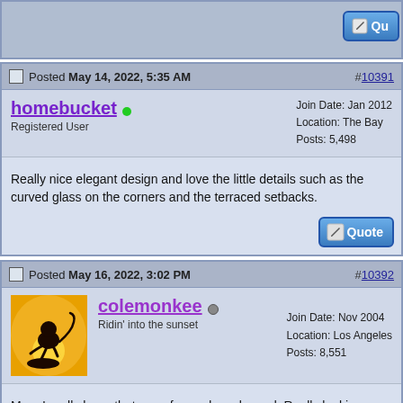Quote button (partial)
Posted May 14, 2022, 5:35 AM #10391
homebucket
Registered User
Join Date: Jan 2012
Location: The Bay
Posts: 5,498
Really nice elegant design and love the little details such as the curved glass on the corners and the terraced setbacks.
Posted May 16, 2022, 3:02 PM #10392
[Figure (photo): Avatar image: silhouette of monkey on golden sunset background]
colemonkee
Ridin' into the sunset
Join Date: Nov 2004
Location: Los Angeles
Posts: 8,551
Man, I really hope that goes forward as planned. Really looking forward to our first SHoP-designed project.

On a related note, does anyone know what's going on with the lot directly across La Cienega from the See's Candy building? Directly south of the parking garage? Would love to see that developed